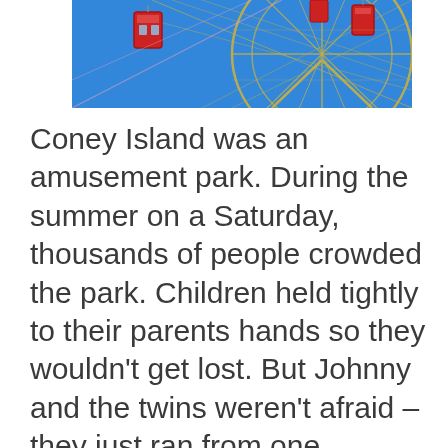[Figure (photo): A close-up photograph of a Ferris wheel against a bright blue sky, showing colorful gondolas (red visible) and the intricate metal lattice structure of the wheel.]
Coney Island was an amusement park. During the summer on a Saturday, thousands of people crowded the park. Children held tightly to their parents hands so they wouldn't get lost. But Johnny and the twins weren't afraid – they just ran from one interesting thing to another. They rode the Ferris wheel...